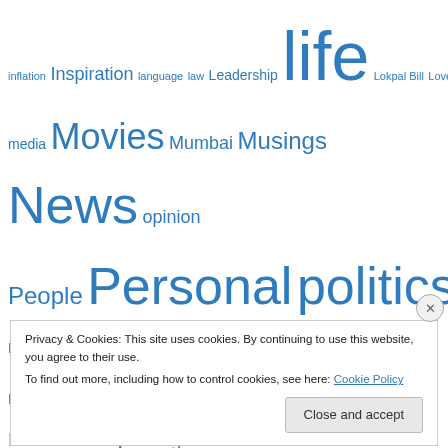inflation Inspiration language law Leadership life Lokpal Bill Love media Movies Mumbai Musings News opinion People Personal politics Rafa Rafael Nadal Rahul Gandhi Random rants rape relationships religion Review Reviews Roger Federer Satyam Science sex Society spoof Sports television Tennis Terror Terrorism Thoughts travel TV women Writing
Privacy & Cookies: This site uses cookies. By continuing to use this website, you agree to their use. To find out more, including how to control cookies, see here: Cookie Policy